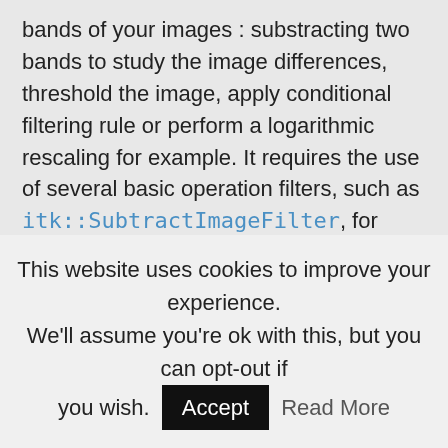bands of your images : substracting two bands to study the image differences, threshold the image, apply conditional filtering rule or perform a logarithmic rescaling for example. It requires the use of several basic operation filters, such as itk::SubtractImageFilter, for each and every operand you want to apply. The brand new BandMathImageFilter provides a simpler and more efficient way to perform complex mathematical operations over n images. It is based on the mathematical parser library muParser and comes with a bunch of build-in functions and operators (listed here). This homebrewed digital calculator is also bundled with custom functions allowing to compute a full expression result simply and really fast, since the filter supports
This website uses cookies to improve your experience. We'll assume you're ok with this, but you can opt-out if you wish. Accept Read More